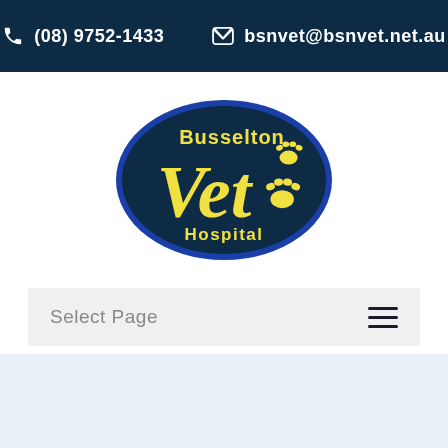(08) 9752-1433  bsnvet@bsnvet.net.au
[Figure (logo): Busselton Vet Hospital logo — dark navy oval with yellow 'Vet' script text, 'Busselton' and 'Hospital' in white/yellow text, two yellow paw prints on right side, blue border outline]
Select Page